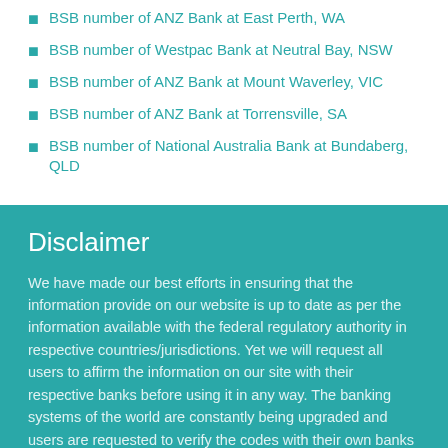BSB number of ANZ Bank at East Perth, WA
BSB number of Westpac Bank at Neutral Bay, NSW
BSB number of ANZ Bank at Mount Waverley, VIC
BSB number of ANZ Bank at Torrensville, SA
BSB number of National Australia Bank at Bundaberg, QLD
Disclaimer
We have made our best efforts in ensuring that the information provide on our website is up to date as per the information available with the federal regulatory authority in respective countries/jurisdictions. Yet we will request all users to affirm the information on our site with their respective banks before using it in any way. The banking systems of the world are constantly being upgraded and users are requested to verify the codes with their own banks before using them. All the information provided on this site is strictly for personal use. It should not be used